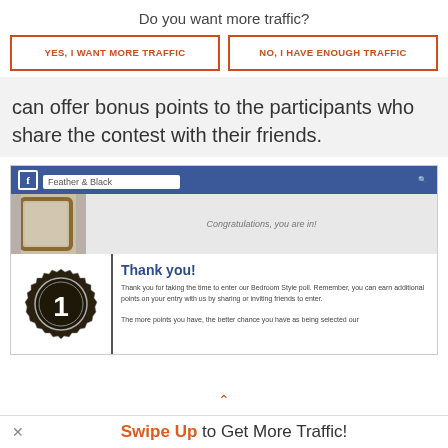Do you want more traffic?
YES, I WANT MORE TRAFFIC
NO, I HAVE ENOUGH TRAFFIC
can offer bonus points to the participants who share the contest with their friends.
[Figure (screenshot): Screenshot of a Facebook page for Feather & Black showing a contest entry confirmation with 'Congratulations, you are in!' banner, a badge with number 1, and a 'Thank you!' message about earning bonus points by sharing or inviting friends.]
Swipe Up to Get More Traffic!